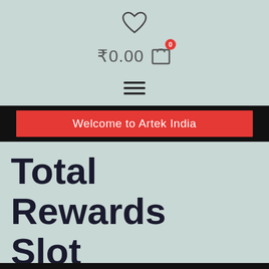[Figure (screenshot): Heart/wishlist icon (outline heart shape) centered at top of page]
₹0.00
[Figure (other): Shopping bag/cart icon with red badge showing '0']
[Figure (other): Hamburger menu icon (three horizontal lines)]
Welcome to Artek India
Total Rewards Slot